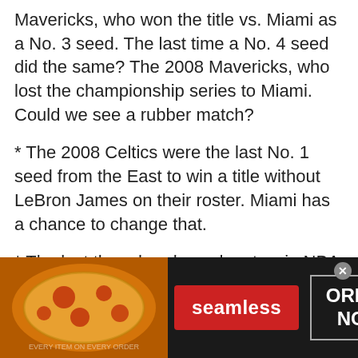Mavericks, who won the title vs. Miami as a No. 3 seed. The last time a No. 4 seed did the same? The 2008 Mavericks, who lost the championship series to Miami. Could we see a rubber match?
* The 2008 Celtics were the last No. 1 seed from the East to win a title without LeBron James on their roster. Miami has a chance to change that.
* The last three head coaches to win NBA titles -- Nick Nurse, Frank Vogel and Mike Budeholzer -- were all first-timers. Golden State's Steve Kerr has three titles, and Miami's Erik Spoelstra has two, while Dallas's Jason Kidd and Boston's Ime
[Figure (other): Seamless food delivery advertisement banner showing pizza image on the left, Seamless logo in red button, and ORDER NOW button on dark background.]